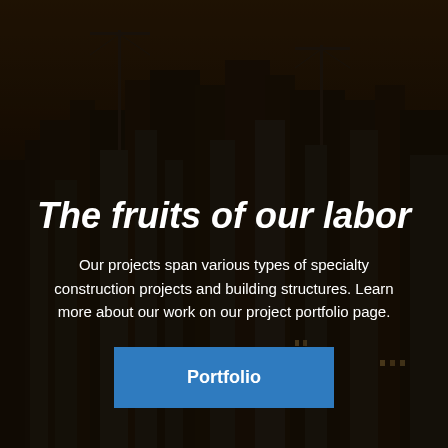[Figure (photo): Dark city skyline background with tall skyscrapers and construction cranes, overlaid with a dark brown/black semi-transparent overlay]
The fruits of our labor
Our projects span various types of specialty construction projects and building structures. Learn more about our work on our project portfolio page.
Portfolio